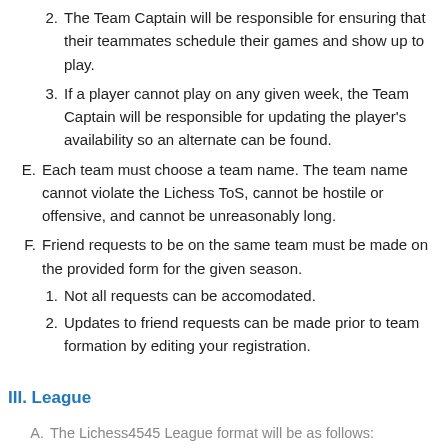2. The Team Captain will be responsible for ensuring that their teammates schedule their games and show up to play.
3. If a player cannot play on any given week, the Team Captain will be responsible for updating the player's availability so an alternate can be found.
E. Each team must choose a team name. The team name cannot violate the Lichess ToS, cannot be hostile or offensive, and cannot be unreasonably long.
F. Friend requests to be on the same team must be made on the provided form for the given season.
1. Not all requests can be accomodated.
2. Updates to friend requests can be made prior to team formation by editing your registration.
III. League
A. The Lichess4545 League format will be as follows: